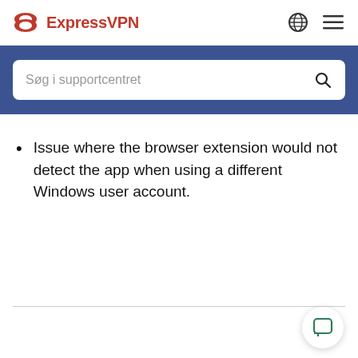ExpressVPN
Søg i supportcentret
Issue where the browser extension would not detect the app when using a different Windows user account.